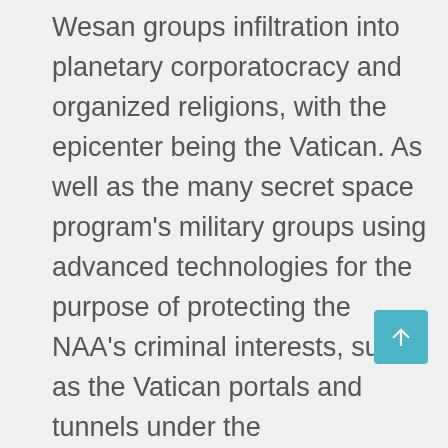Wesan groups infiltration into planetary corporatocracy and organized religions, with the epicenter being the Vatican. As well as the many secret space program's military groups using advanced technologies for the purpose of protecting the NAA's criminal interests, such as the Vatican portals and tunnels under the Mediterranean Sea that reach all over the globe, along with the well-organized Black Nobility hierarchies that run human and child trafficking businesses for the NAA. In this context, we must remember that off planet in more advanced civilizations, the genetics of human beings, abductions for slave work force and the spiritual content in our blood is the most popular currency being traded with other civilizations.